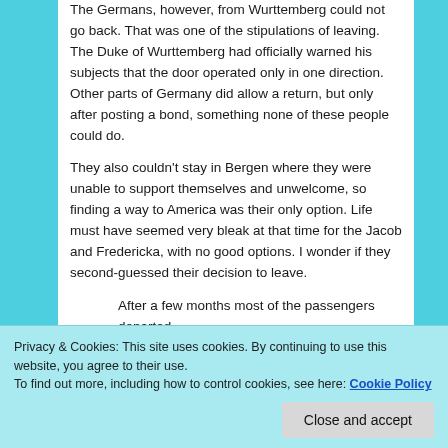The Germans, however, from Wurttemberg could not go back. That was one of the stipulations of leaving. The Duke of Wurttemberg had officially warned his subjects that the door operated only in one direction. Other parts of Germany did allow a return, but only after posting a bond, something none of these people could do.
They also couldn't stay in Bergen where they were unable to support themselves and unwelcome, so finding a way to America was their only option. Life must have seemed very bleak at that time for the Jacob and Fredericka, with no good options. I wonder if they second-guessed their decision to leave.
After a few months most of the passengers departed
Woxvold. Prima was hired by the Norwegian
Privacy & Cookies: This site uses cookies. By continuing to use this website, you agree to their use.
To find out more, including how to control cookies, see here: Cookie Policy